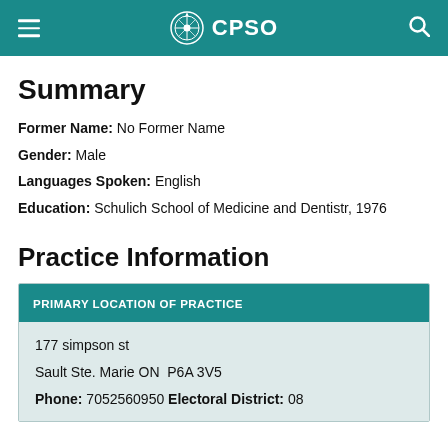CPSO
Summary
Former Name: No Former Name
Gender: Male
Languages Spoken: English
Education: Schulich School of Medicine and Dentistr, 1976
Practice Information
PRIMARY LOCATION OF PRACTICE
177 simpson st
Sault Ste. Marie ON  P6A 3V5
Phone: 7052560950 Electoral District: 08